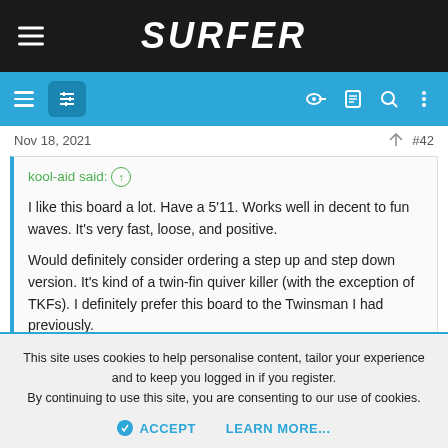SURFER
Nov 18, 2021  #42
kool-aid said: ↑

I like this board a lot. Have a 5'11. Works well in decent to fun waves. It's very fast, loose, and positive.

Would definitely consider ordering a step up and step down version. It's kind of a twin-fin quiver killer (with the exception of TKFs). I definitely prefer this board to the Twinsman I had previously.
This site uses cookies to help personalise content, tailor your experience and to keep you logged in if you register.
By continuing to use this site, you are consenting to our use of cookies.
ACCEPT  LEARN MORE...